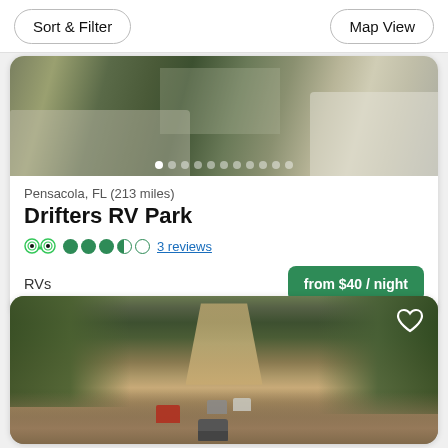Sort & Filter | Map View
[Figure (photo): RV park campsite photo showing RVs parked on gravel with grass and trees, with image carousel dots at bottom]
Pensacola, FL (213 miles)
Drifters RV Park
TripAdvisor rating: 3.5 bubbles, 3 reviews
RVs
from $40 / night
[Figure (photo): Off-road trail with multiple Jeeps and SUVs driving along a dirt road through forested hills]